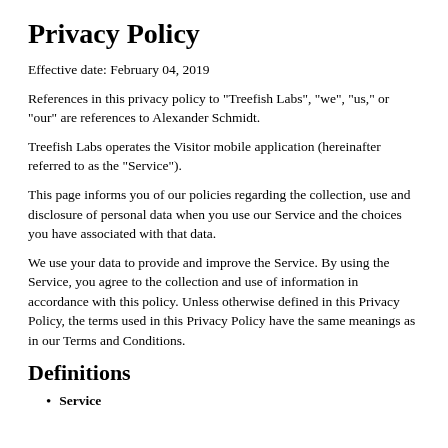Privacy Policy
Effective date: February 04, 2019
References in this privacy policy to "Treefish Labs", "we", "us," or "our" are references to Alexander Schmidt.
Treefish Labs operates the Visitor mobile application (hereinafter referred to as the "Service").
This page informs you of our policies regarding the collection, use and disclosure of personal data when you use our Service and the choices you have associated with that data.
We use your data to provide and improve the Service. By using the Service, you agree to the collection and use of information in accordance with this policy. Unless otherwise defined in this Privacy Policy, the terms used in this Privacy Policy have the same meanings as in our Terms and Conditions.
Definitions
Service